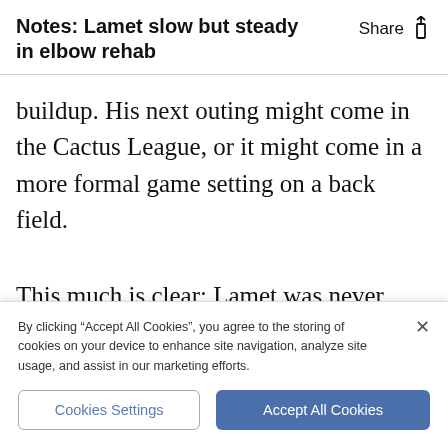Notes: Lamet slow but steady in elbow rehab
buildup. His next outing might come in the Cactus League, or it might come in a more formal game setting on a back field.
This much is clear: Lamet was never going to throw 250 innings this season, and the Padres have designs on playing deep into October. They're going to limit his workload somehow. Evidently that entails a slow
By clicking “Accept All Cookies”, you agree to the storing of cookies on your device to enhance site navigation, analyze site usage, and assist in our marketing efforts.
Cookies Settings
Accept All Cookies